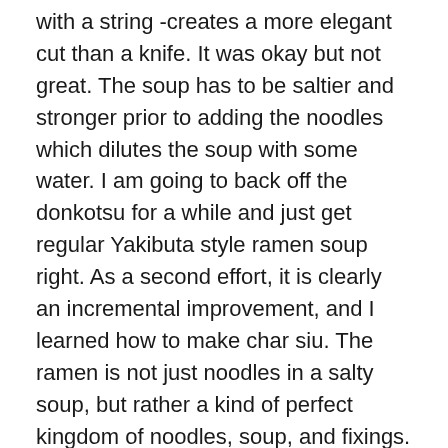with a string -creates a more elegant cut than a knife. It was okay but not great. The soup has to be saltier and stronger prior to adding the noodles which dilutes the soup with some water. I am going to back off the donkotsu for a while and just get regular Yakibuta style ramen soup right. As a second effort, it is clearly an incremental improvement, and I learned how to make char siu. The ramen is not just noodles in a salty soup, but rather a kind of perfect kingdom of noodles, soup, and fixings. You want to get balance -the texture of chewing noodles and the intense flavor of the soup, the surprising pleasures of the fixings.
Today, I released Ramen 1.1. The ramen noodles area easy to make with the Atlas pasta press. In 1976, my folks purchased this from Macy's for $45, which was quite a sum back then. Using an inflation calculator (link), this